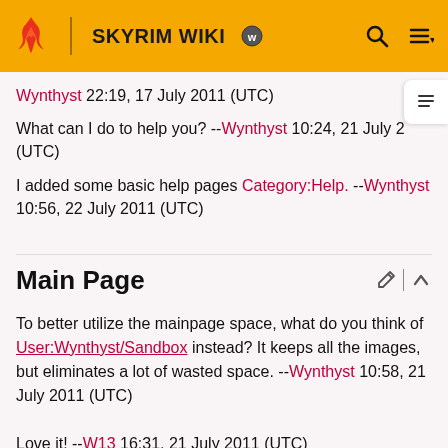SKYRIM WIKI
Wynthyst 22:19, 17 July 2011 (UTC)
What can I do to help you? --Wynthyst 10:24, 21 July 2 (UTC)
I added some basic help pages Category:Help. --Wynthyst 10:56, 22 July 2011 (UTC)
Main Page
To better utilize the mainpage space, what do you think of User:Wynthyst/Sandbox instead? It keeps all the images, but eliminates a lot of wasted space. --Wynthyst 10:58, 21 July 2011 (UTC)
Love it! --W13 16:31, 21 July 2011 (UTC)
Ninja editor strikes again. If you hate it, we can change it